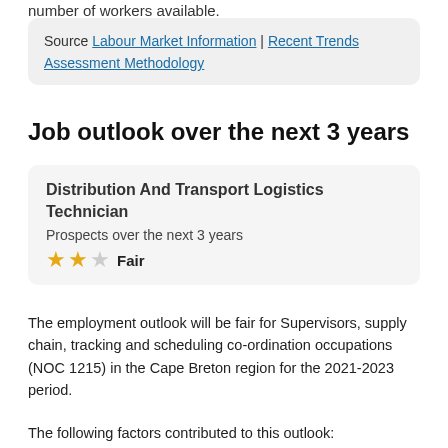number of workers available.
Source Labour Market Information | Recent Trends Assessment Methodology
Job outlook over the next 3 years
Distribution And Transport Logistics Technician
Prospects over the next 3 years
★★☆ Fair
The employment outlook will be fair for Supervisors, supply chain, tracking and scheduling co-ordination occupations (NOC 1215) in the Cape Breton region for the 2021-2023 period.
The following factors contributed to this outlook: